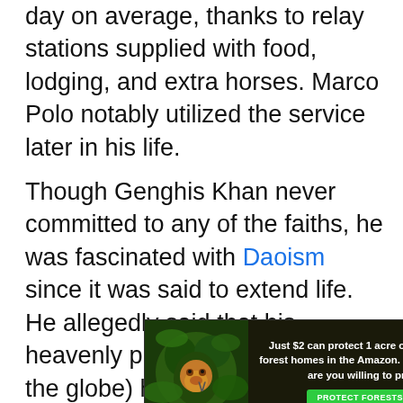day on average, thanks to relay stations supplied with food, lodging, and extra horses. Marco Polo notably utilized the service later in his life.
Though Genghis Khan never committed to any of the faiths, he was fascinated with Daoism since it was said to extend life. He allegedly said that his heavenly purpose (to dominate the globe) had not been
[Figure (other): Advertisement banner: Just $2 can protect 1 acre of irreplaceable forest homes in the Amazon. How many acres are you willing to protect? PROTECT FORESTS NOW. Shows image of an orangutan in green forest foliage.]